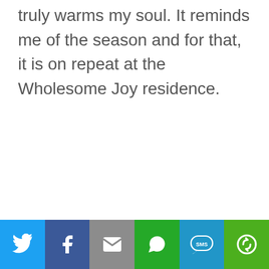truly warms my soul. It reminds me of the season and for that, it is on repeat at the Wholesome Joy residence.
[Figure (infographic): Social sharing bar with six buttons: Twitter (blue), Facebook (dark blue), Email (gray), WhatsApp (green), SMS (blue), More/share (green)]